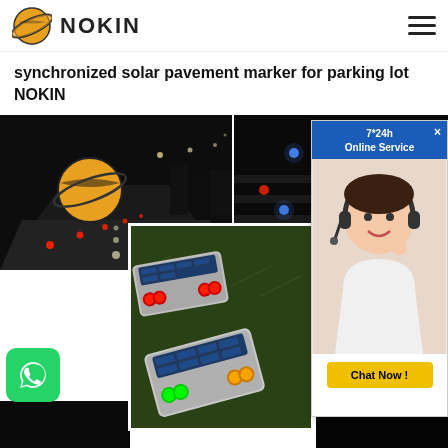NOKIN
synchronized solar pavement marker for parking lot NOKIN
Get Price>>
[Figure (photo): Night road scene with orange NOKIN logo sphere and solar road markers glowing red along road edge]
[Figure (photo): Night scene with blue and red glowing solar pavement markers on road/steps]
[Figure (photo): Close-up of solar pavement markers on grass showing green, yellow and red LED lights, aluminum body]
[Figure (photo): Dark bottom-left photo, partially visible]
[Figure (photo): Dark bottom-right photo, partially visible]
[Figure (other): Online service chat widget with 7*24h label, agent photo, and Chat Now button]
[Figure (other): WhatsApp contact button, green with phone icon]